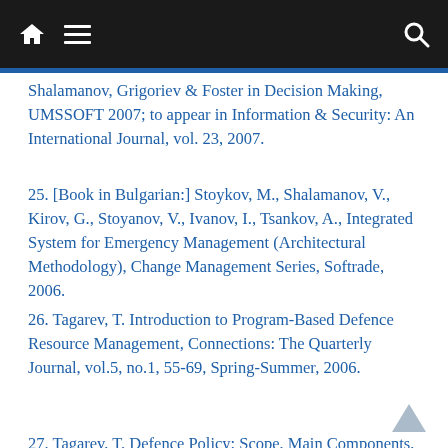Navigation bar with home, menu, and search icons
...Shalamanov, Grigoriev & Foster in Decision Making, UMSSOFT 2007; to appear in Information & Security: An International Journal, vol. 23, 2007.
25. [Book in Bulgarian:] Stoykov, M., Shalamanov, V., Kirov, G., Stoyanov, V., Ivanov, I., Tsankov, A., Integrated System for Emergency Management (Architectural Methodology), Change Management Series, Softrade, 2006.
26. Tagarev, T. Introduction to Program-Based Defence Resource Management, Connections: The Quarterly Journal, vol.5, no.1, 55-69, Spring-Summer, 2006.
27. Tagarev, T. Defence Policy: Scope, Main Components, and Relationships, Mejdunarodni otnoshenia /International Relations/ vol. 1-2 141-156.